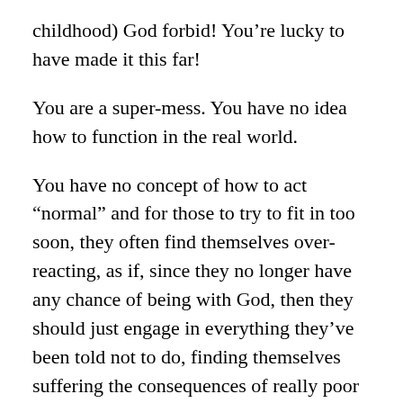childhood) God forbid! You’re lucky to have made it this far!
You are a super-mess. You have no idea how to function in the real world.
You have no concept of how to act “normal” and for those to try to fit in too soon, they often find themselves over-reacting, as if, since they no longer have any chance of being with God, then they should just engage in everything they’ve been told not to do, finding themselves suffering the consequences of really poor decision-making.
And if you’ve suffered mental, physical, and